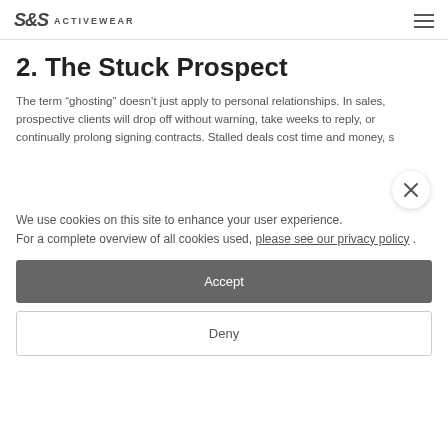S&S ACTIVEWEAR
2. The Stuck Prospect
The term “ghosting” doesn’t just apply to personal relationships. In sales, prospective clients will drop off without warning, take weeks to reply, or continually prolong signing contracts. Stalled deals cost time and money, s
We use cookies on this site to enhance your user experience.
For a complete overview of all cookies used, please see our privacy policy .
Accept
Deny